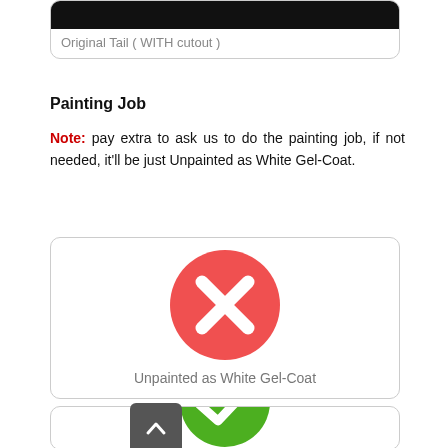[Figure (screenshot): Card with black image bar at top and label 'Original Tail ( WITH cutout )' in gray text below]
Painting Job
Note: pay extra to ask us to do the painting job, if not needed, it'll be just Unpainted as White Gel-Coat.
[Figure (illustration): Card with a red circle containing a white X icon, labeled 'Unpainted as White Gel-Coat' below]
[Figure (illustration): Partially visible card at bottom with a green circle containing a white checkmark icon]